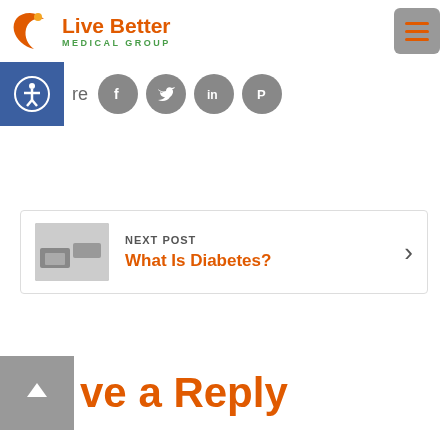[Figure (logo): Live Better Medical Group logo with orange crescent icon and green MEDICAL GROUP text]
[Figure (other): Gray hamburger menu button in top right corner]
[Figure (other): Social share bar with accessibility icon (blue), share label, and gray circular icons for Facebook, Twitter, LinkedIn, Pinterest]
NEXT POST
What Is Diabetes?
Leave a Reply